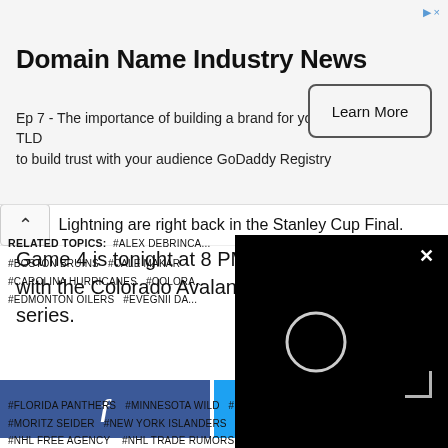[Figure (screenshot): Advertisement banner for Domain Name Industry News - GoDaddy Registry with Learn More button]
...Lightning are right back in the Stanley Cup Final. Game 4 is tonight at 8 PM ET in Tampa Bay with the Colorado Avalanche up 2-1 in the series.
[Figure (screenshot): Social sharing buttons: Facebook, Twitter, and another platform]
[Figure (screenshot): Black video player overlay with circular loading indicator and X close button]
RELATED TOPICS: #ALEX DEBRINC... #BOSTON BRUINS #CALE MAKAR #CAROLINA HURRICANES #COLORA... #EDMONTON OILERS #EVEGNII DA... #FLORIDA PANTHERS #MINNESOTA WILD #MONTREAL CANADIENS #MORITZ SEIDER #NEW YORK ISLANDERS #NEW YORK RANGERS #NHL #NHL FREE AGENCY #NHL TRADE RUMORS #NHLN TRADE RUMOURS #PITTSBURGH PENGUINS #SAN JOSE SHARKS #ST. LOUIS BLUES #STANLEY CUP FINAL #STANLEY CUP PLAYOFFS #TAMPA BAY LIGHTNING #WINNIPEG JETS